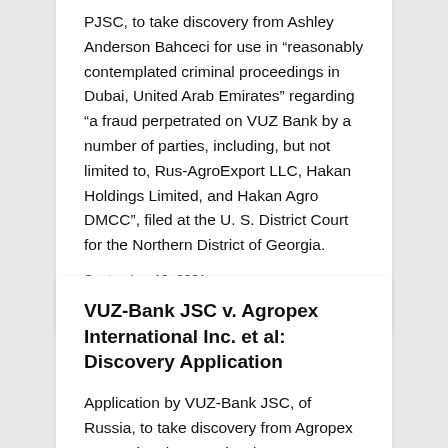PJSC, to take discovery from Ashley Anderson Bahceci for use in "reasonably contemplated criminal proceedings in Dubai, United Arab Emirates" regarding "a fraud perpetrated on VUZ Bank by a number of parties, including, but not limited to, Rus-AgroExport LLC, Hakan Holdings Limited, and Hakan Agro DMCC", filed at the U. S. District Court for the Northern District of Georgia.
September 10, 2021
VUZ-Bank JSC v. Agropex International Inc. et al: Discovery Application
Application by VUZ-Bank JSC, of Russia, to take discovery from Agropex International Inc. and Hakan